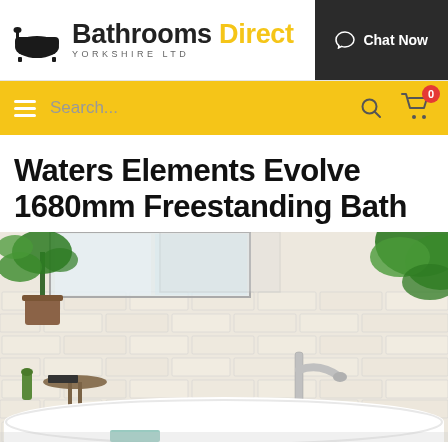[Figure (logo): Bathrooms Direct Yorkshire Ltd logo with bath icon]
[Figure (screenshot): Yellow navigation bar with hamburger menu, search input, search icon, and cart with 0 badge]
Waters Elements Evolve 1680mm Freestanding Bath
[Figure (photo): Freestanding white bathtub in a room with white brick walls, green tropical plants, and a chrome freestanding bath filler tap. Small side table with book visible on left.]